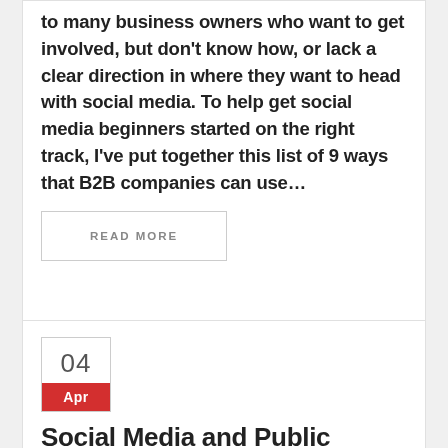to many business owners who want to get involved, but don't know how, or lack a clear direction in where they want to head with social media. To help get social media beginners started on the right track, I've put together this list of 9 ways that B2B companies can use…
READ MORE
04
Apr
Social Media and Public Holidays – to Tweet, or